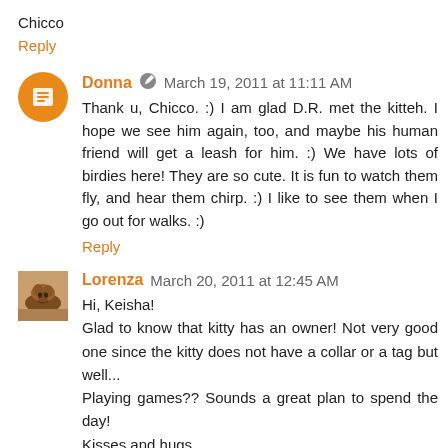Chicco
Reply
Donna  March 19, 2011 at 11:11 AM
Thank u, Chicco. :) I am glad D.R. met the kitteh. I hope we see him again, too, and maybe his human friend will get a leash for him. :) We have lots of birdies here! They are so cute. It is fun to watch them fly, and hear them chirp. :) I like to see them when I go out for walks. :)
Reply
Lorenza  March 20, 2011 at 12:45 AM
Hi, Keisha!
Glad to know that kitty has an owner! Not very good one since the kitty does not have a collar or a tag but well...
Playing games?? Sounds a great plan to spend the day!
Kisses and hugs
Lorenza